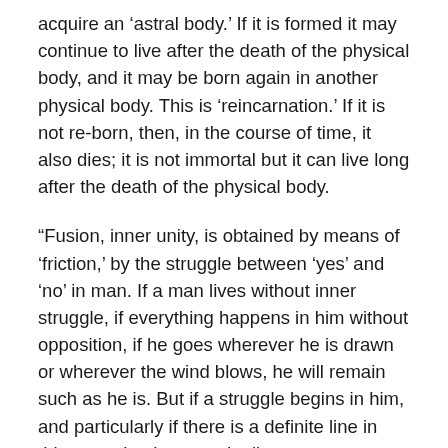acquire an ‘astral body.’ If it is formed it may continue to live after the death of the physical body, and it may be born again in another physical body. This is ‘reincarnation.’ If it is not re-born, then, in the course of time, it also dies; it is not immortal but it can live long after the death of the physical body.
“Fusion, inner unity, is obtained by means of ‘friction,’ by the struggle between ‘yes’ and ‘no’ in man. If a man lives without inner struggle, if everything happens in him without opposition, if he goes wherever he is drawn or wherever the wind blows, he will remain such as he is. But if a struggle begins in him, and particularly if there is a definite line in this struggle, then, gradually, permanent traits begin to form themselves, he begins to ‘crystallize.’ But crystallization is possible on a right foundation and it is possible on a wrong foundation. ‘Friction,’ the struggle